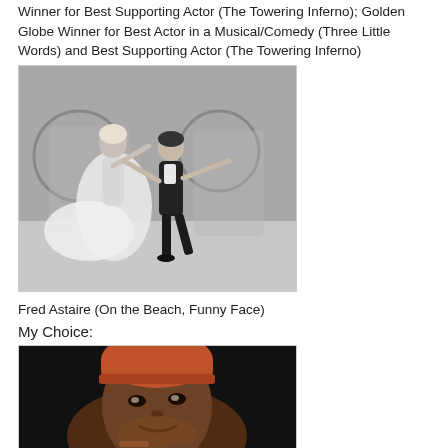Winner for Best Supporting Actor (The Towering Inferno); Golden Globe Winner for Best Actor in a Musical/Comedy (Three Little Words) and Best Supporting Actor (The Towering Inferno)
[Figure (photo): Black and white photo of two dancers, a woman in a white flowing dress and a man in a black tuxedo, dancing together on a stage set]
Fred Astaire (On the Beach, Funny Face)
My Choice:
[Figure (photo): Color photo of a person wearing a red/orange knit cap, shown from below against a dark background]